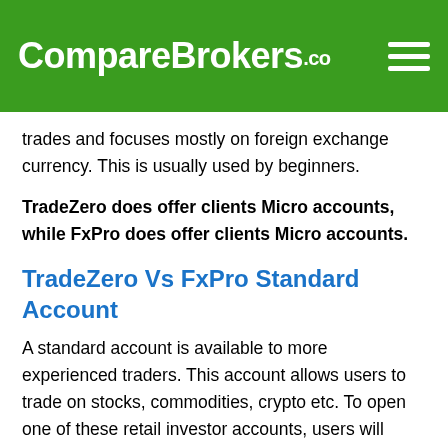CompareBrokers.co
trades and focuses mostly on foreign exchange currency. This is usually used by beginners.
TradeZero does offer clients Micro accounts, while FxPro does offer clients Micro accounts.
TradeZero Vs FxPro Standard Account
A standard account is available to more experienced traders. This account allows users to trade on stocks, commodities, crypto etc. To open one of these retail investor accounts, users will have to trade with at least $100. This is the account the majority of people will seek to use.
TradeZero does offer clients Standard accounts, while FxPro does offer clients Standard accounts.
TradeZero Vs FxPro MAM Account